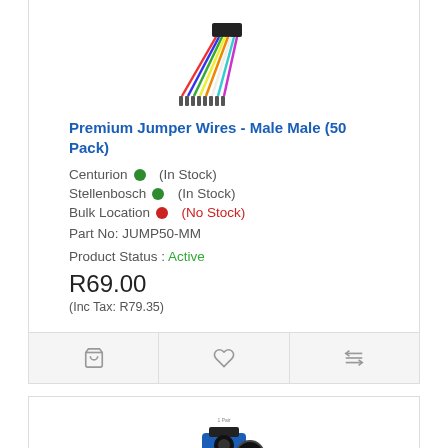[Figure (photo): Premium Jumper Wires - Male Male (50 Pack) product image showing colorful wires]
Premium Jumper Wires - Male Male (50 Pack)
Centurion • (In Stock)
Stellenbosch • (In Stock)
Bulk Location • (No Stock)
Part No: JUMP50-MM
Product Status : Active
R69.00
(Inc Tax: R79.35)
[Figure (photo): Rotational FS90R Servo and Wheel Pair Kit product image showing a servo motor with wheel]
Rotational FS90R Servo and Wheel Pair Kit
Centurion • (In Stock)